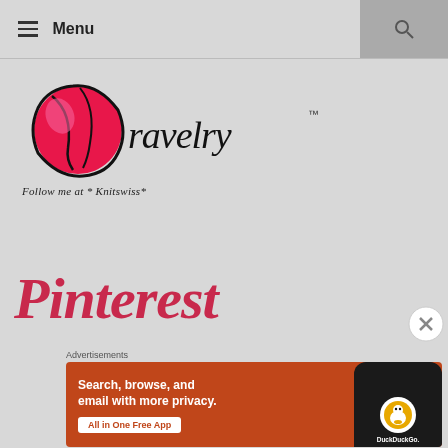Menu
[Figure (logo): Ravelry logo with a pink yarn ball and the text 'ravelry' in serif font with a trademark symbol]
Follow me at * Knitswiss*
[Figure (logo): Pinterest logo in red script font]
[Figure (other): Close/dismiss button circle with X]
Advertisements
[Figure (screenshot): DuckDuckGo advertisement banner with orange background: Search, browse, and email with more privacy. All in One Free App. Shows a phone with DuckDuckGo app.]